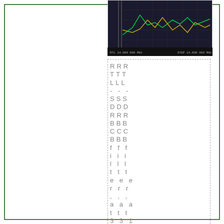[Figure (screenshot): Oscilloscope or spectrum analyzer screen showing waveforms in green and yellow/orange on a dark background, with measurement readouts at bottom]
RTL-SDRBBCBBfilter, at 331.998331Mhz. SWR